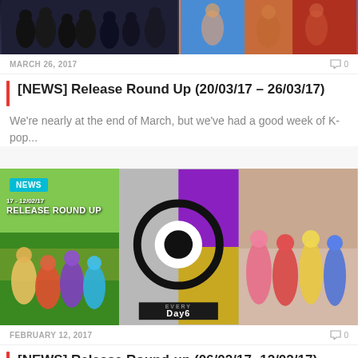[Figure (photo): Top article banner image showing K-pop artists, cropped at top]
MARCH 26, 2017   0
[NEWS] Release Round Up (20/03/17 – 26/03/17)
We're nearly at the end of March, but we've had a good week of K-pop...
[Figure (photo): Second article banner image with NEWS badge, showing K-pop artists and Day6 logo collage]
FEBRUARY 12, 2017   0
[NEWS] Release Round-up (06/02/17- 12/02/17)